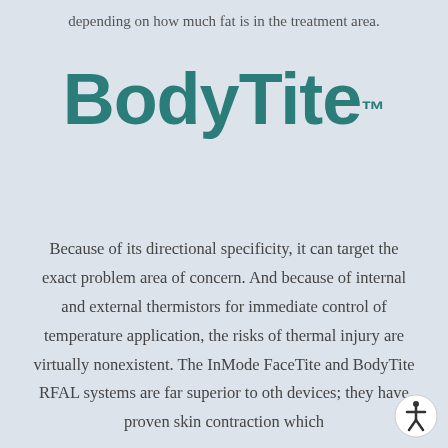depending on how much fat is in the treatment area.
[Figure (logo): BodyTite brand logo in teal/dark cyan color with trademark symbol]
Because of its directional specificity, it can target the exact problem area of concern. And because of internal and external thermistors for immediate control of temperature application, the risks of thermal injury are virtually nonexistent. The InMode FaceTite and BodyTite RFAL systems are far superior to other devices; they have proven skin contraction which